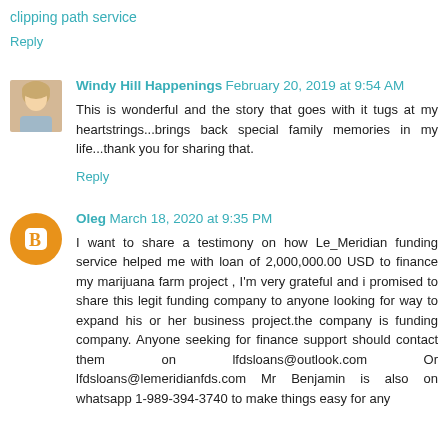clipping path service
Reply
Windy Hill Happenings February 20, 2019 at 9:54 AM
This is wonderful and the story that goes with it tugs at my heartstrings...brings back special family memories in my life...thank you for sharing that.
Reply
Oleg March 18, 2020 at 9:35 PM
I want to share a testimony on how Le_Meridian funding service helped me with loan of 2,000,000.00 USD to finance my marijuana farm project , I'm very grateful and i promised to share this legit funding company to anyone looking for way to expand his or her business project.the company is funding company. Anyone seeking for finance support should contact them on lfdsloans@outlook.com Or lfdsloans@lemeridianfds.com Mr Benjamin is also on whatsapp 1-989-394-3740 to make things easy for any